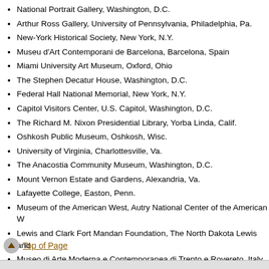National Portrait Gallery, Washington, D.C.
Arthur Ross Gallery, University of Pennsylvania, Philadelphia, Pa.
New-York Historical Society, New York, N.Y.
Museu d'Art Contemporani de Barcelona, Barcelona, Spain
Miami University Art Museum, Oxford, Ohio
The Stephen Decatur House, Washington, D.C.
Federal Hall National Memorial, New York, N.Y.
Capitol Visitors Center, U.S. Capitol, Washington, D.C.
The Richard M. Nixon Presidential Library, Yorba Linda, Calif.
Oshkosh Public Museum, Oshkosh, Wisc.
University of Virginia, Charlottesville, Va.
The Anacostia Community Museum, Washington, D.C.
Mount Vernon Estate and Gardens, Alexandria, Va.
Lafayette College, Easton, Penn.
Museum of the American West, Autry National Center of the American W
Lewis and Clark Fort Mandan Foundation, The North Dakota Lewis and
Museo di Arte Moderna e Contemporanea di Trento e Rovereto, Italy
Museu d'Historia de Catalunya, Barcelona, Spain
Loan Procedures for Institutions provides further information on Library of C
Top of Page